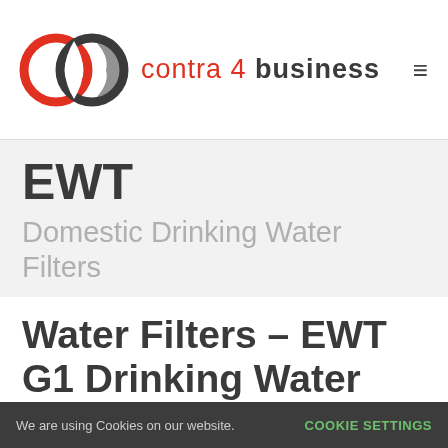[Figure (logo): Contra 4 Business logo with two interlocking circles (one red, one dark gray) and the text 'contra 4 business' in red and dark gray]
EWT
Domestic Drinking Water Filters
Water Filters – EWT G1 Drinking Water Filter
As drinking water quality can no longer be
We are using Cookies on our website. COOKIE SETTINGS